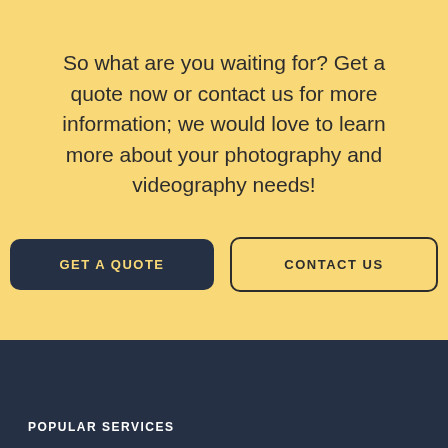So what are you waiting for? Get a quote now or contact us for more information; we would love to learn more about your photography and videography needs!
GET A QUOTE
CONTACT US
POPULAR SERVICES